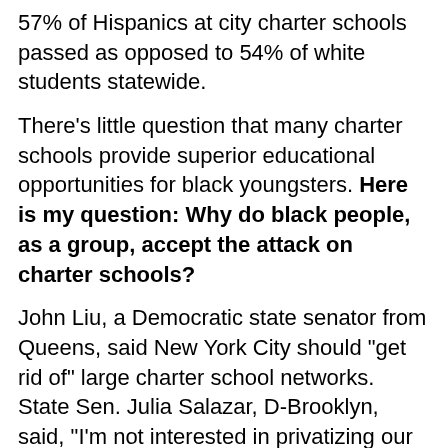57% of Hispanics at city charter schools passed as opposed to 54% of white students statewide.
There's little question that many charter schools provide superior educational opportunities for black youngsters. Here is my question: Why do black people, as a group, accept the attack on charter schools?
John Liu, a Democratic state senator from Queens, said New York City should "get rid of" large charter school networks. State Sen. Julia Salazar, D-Brooklyn, said, "I'm not interested in privatizing our public schools." New York City Mayor Bill de Blasio explicitly campaigned against charter schools saying: "I am angry about the privatizers. I am sick and tired of these efforts to privatize a precious thing we need -- public education. The New York Times article went on to say, "Over 100,000 students in hundreds of the city's charter schools are doing well on state